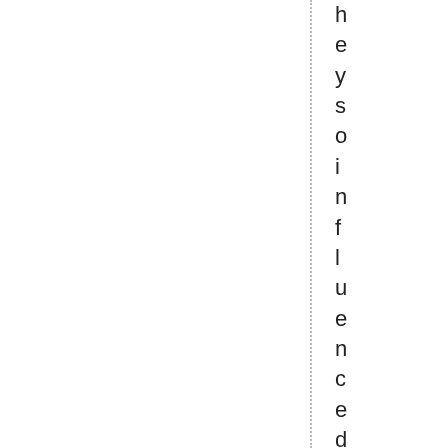heysoinfl
uencedme,wasthattheyp